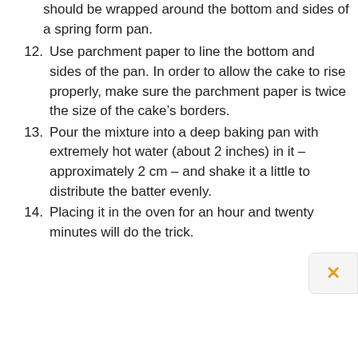should be wrapped around the bottom and sides of a spring form pan.
12. Use parchment paper to line the bottom and sides of the pan. In order to allow the cake to rise properly, make sure the parchment paper is twice the size of the cake’s borders.
13. Pour the mixture into a deep baking pan with extremely hot water (about 2 inches) in it – approximately 2 cm – and shake it a little to distribute the batter evenly.
14. Placing it in the oven for an hour and twenty minutes will do the trick.